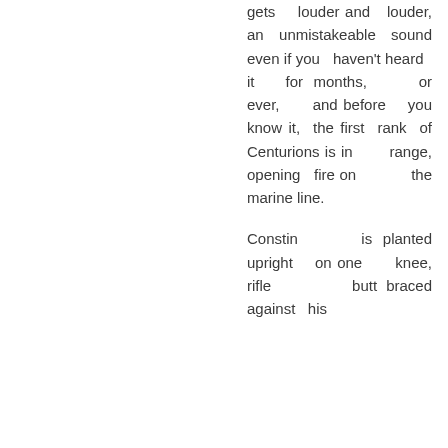gets louder and louder, an unmistakeable sound even if you haven't heard it for months, or ever, and before you know it, the first rank of Centurions is in range, opening fire on the marine line.
Constin is planted upright on one knee, rifle butt braced against his